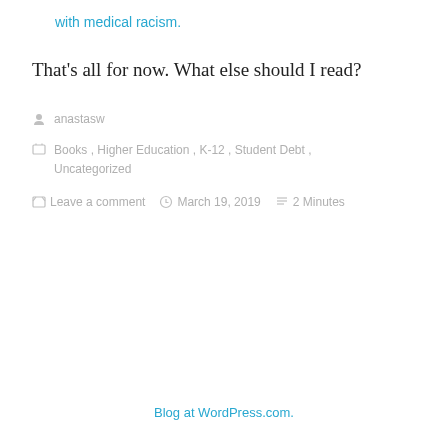with medical racism.
That's all for now. What else should I read?
anastasw
Books, Higher Education, K-12, Student Debt, Uncategorized
Leave a comment   March 19, 2019   2 Minutes
Blog at WordPress.com.